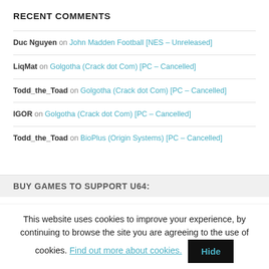RECENT COMMENTS
Duc Nguyen on John Madden Football [NES – Unreleased]
LiqMat on Golgotha (Crack dot Com) [PC – Cancelled]
Todd_the_Toad on Golgotha (Crack dot Com) [PC – Cancelled]
IGOR on Golgotha (Crack dot Com) [PC – Cancelled]
Todd_the_Toad on BioPlus (Origin Systems) [PC – Cancelled]
BUY GAMES TO SUPPORT U64:
This website uses cookies to improve your experience, by continuing to browse the site you are agreeing to the use of cookies. Find out more about cookies.